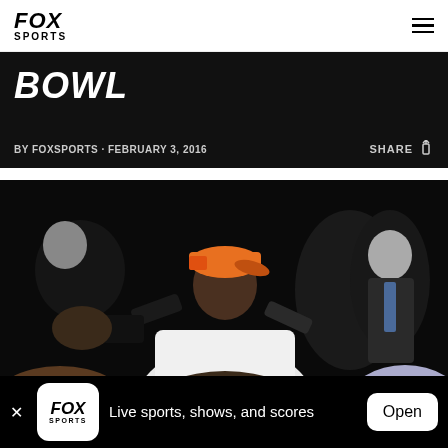FOX SPORTS
BOWL
BY FOXSPORTS · FEBRUARY 3, 2016
SHARE
[Figure (photo): A Denver Broncos player wearing an orange Broncos cap and white jersey number 94 speaks to reporters at a press conference setting, surrounded by journalists holding microphones and recording devices. Dark background.]
Live sports, shows, and scores